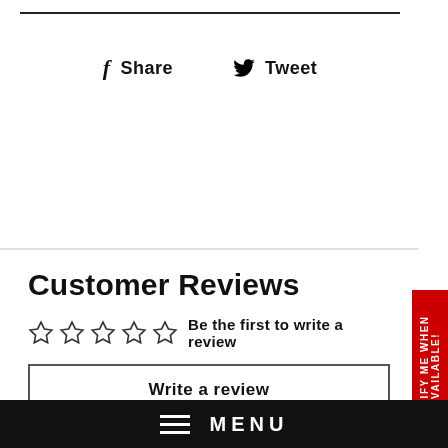[Figure (screenshot): Horizontal rule line at top of page]
f Share   Tweet
Customer Reviews
☆☆☆☆☆ Be the first to write a review
Write a review
NOTIFY ME WHEN AVAILABLE!
≡ MENU